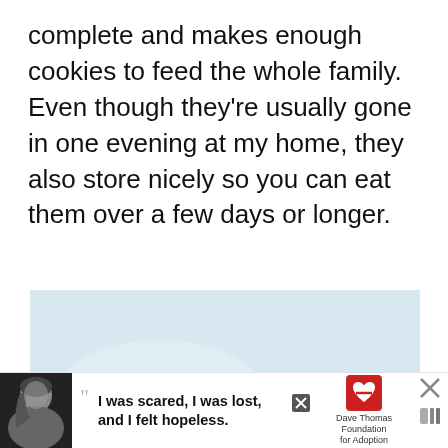complete and makes enough cookies to feed the whole family. Even though they're usually gone in one evening at my home, they also store nicely so you can eat them over a few days or longer.
[Figure (photo): Close-up photo of stacked chocolate chip cookies on a white surface, slightly blurred/bokeh background, with a heart (save) button and share button overlaid on the right side.]
[Figure (infographic): Advertisement banner: black-and-white photo of a young woman on left, large quotation marks with text 'I was scared, I was lost, and I felt hopeless.' in the center, Dave Thomas Foundation for Adoption logo on the right, with close/dismiss X buttons.]